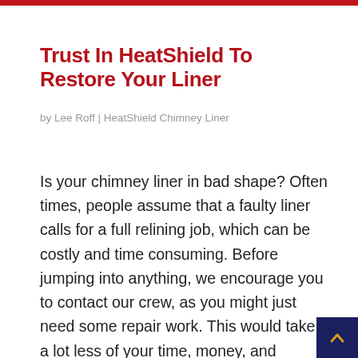Trust In HeatShield To Restore Your Liner
by Lee Roff | HeatShield Chimney Liner
Is your chimney liner in bad shape? Often times, people assume that a faulty liner calls for a full relining job, which can be costly and time consuming. Before jumping into anything, we encourage you to contact our crew, as you might just need some repair work. This would take a lot less of your time, money, and patience! Ask our team of CSIA-certified experts about how we can help you